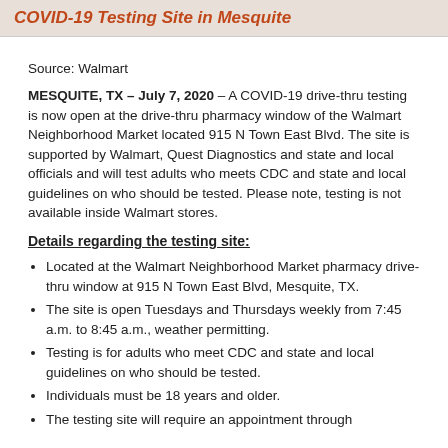COVID-19 Testing Site in Mesquite
Source: Walmart
MESQUITE, TX – July 7, 2020 – A COVID-19 drive-thru testing is now open at the drive-thru pharmacy window of the Walmart Neighborhood Market located 915 N Town East Blvd. The site is supported by Walmart, Quest Diagnostics and state and local officials and will test adults who meets CDC and state and local guidelines on who should be tested. Please note, testing is not available inside Walmart stores.
Details regarding the testing site:
Located at the Walmart Neighborhood Market pharmacy drive-thru window at 915 N Town East Blvd, Mesquite, TX.
The site is open Tuesdays and Thursdays weekly from 7:45 a.m. to 8:45 a.m., weather permitting.
Testing is for adults who meet CDC and state and local guidelines on who should be tested.
Individuals must be 18 years and older.
The testing site will require an appointment through